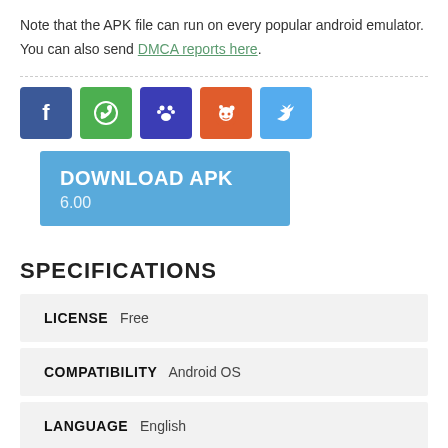Note that the APK file can run on every popular android emulator. You can also send DMCA reports here.
[Figure (infographic): Row of five social media share icons: Facebook (blue), WhatsApp (green), Paw/Tumblr (dark blue), Reddit (orange), Twitter (light blue)]
[Figure (infographic): Blue download button with text DOWNLOAD APK and version 6.00]
SPECIFICATIONS
| LICENSE | Free |
| COMPATIBILITY | Android OS |
| LANGUAGE | English |